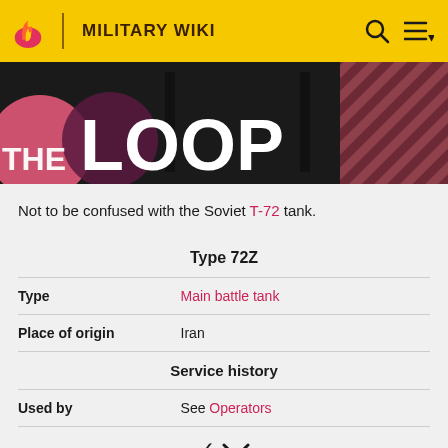MILITARY WIKI
[Figure (screenshot): THE LOOP banner with dark tank image and diagonal stripe pattern background]
Not to be confused with the Soviet T-72 tank.
| Type 72Z |  |
| Type | Main battle tank |
| Place of origin | Iran |
| Service history |  |
| Used by | See Operators |